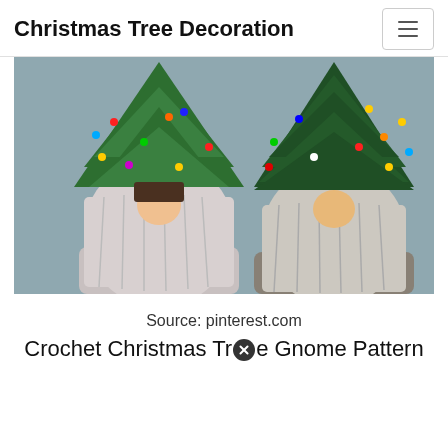Christmas Tree Decoration
[Figure (photo): Two ceramic gnome figurines wearing Christmas tree hats decorated with colorful lights, with large white beards and round noses.]
Source: pinterest.com
Crochet Christmas Tree Gnome Pattern